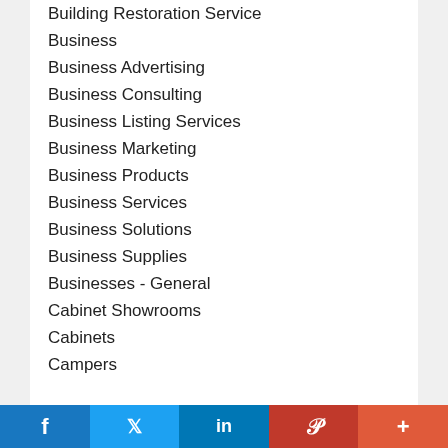Building Restoration Service
Business
Business Advertising
Business Consulting
Business Listing Services
Business Marketing
Business Products
Business Services
Business Solutions
Business Supplies
Businesses - General
Cabinet Showrooms
Cabinets
Campers
f  𝕏  in  P  +